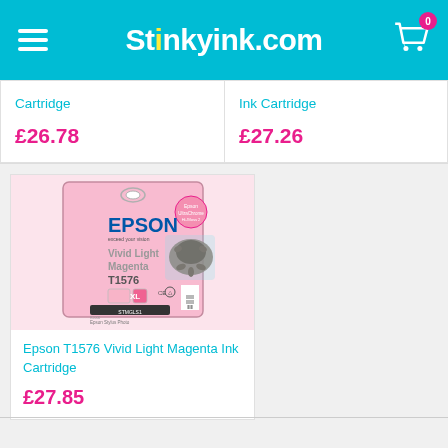Stinkyink.com
Cartridge
£26.78
Ink Cartridge
£27.26
[Figure (photo): Epson T1576 Vivid Light Magenta ink cartridge box with turtle image]
Epson T1576 Vivid Light Magenta Ink Cartridge
£27.85